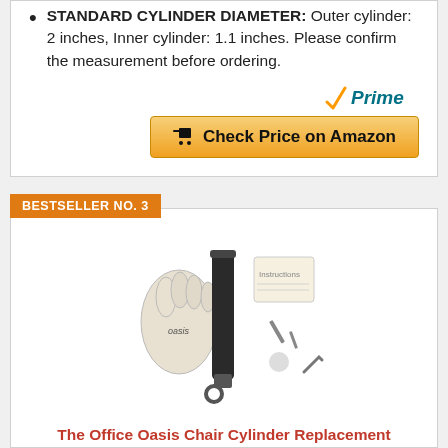STANDARD CYLINDER DIAMETER: Outer cylinder: 2 inches, Inner cylinder: 1.1 inches. Please confirm the measurement before ordering.
[Figure (logo): Amazon Prime badge with checkmark and 'Prime' text in blue italic]
[Figure (other): Yellow 'Check Price on Amazon' button with shopping cart icon]
BESTSELLER NO. 3
[Figure (photo): Product photo showing The Office Oasis Chair Cylinder Replacement set including cylinder, gloves, hardware and instructions]
The Office Oasis Chair Cylinder Replacement